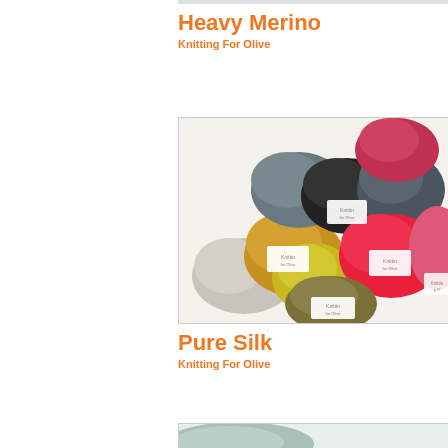Heavy Merino
Knitting For Olive
[Figure (photo): Multiple balls of yarn in various colors including gray, golden yellow, black, dark gray, red/pink, olive/khaki, and light gray, with white Knitting For Olive labels visible on several balls, arranged in a pile on a white surface.]
Pure Silk
Knitting For Olive
[Figure (photo): Partial view of yarn balls at the bottom of the page, light teal/blue-gray colored yarn visible.]